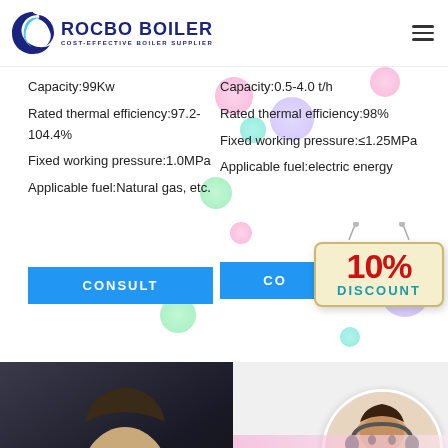[Figure (logo): Rocbo Boiler logo with crescent moon/C shape icon and text 'ROCBO BOILER - COST-EFFECTIVE BOILER SUPPLIER']
Capacity:99Kw
Rated thermal efficiency:97.2-104.4%
Fixed working pressure:1.0MPa
Applicable fuel:Natural gas, etc.
Capacity:0.5-4.0 t/h
Rated thermal efficiency:98%
Fixed working pressure:≤1.25MPa
Applicable fuel:electric energy
[Figure (infographic): 10% DISCOUNT badge/sign hanging from strings with colorful decorative bubbles]
[Figure (photo): Photo of a smiling woman with headset (customer service agent) in circular crop at bottom right, and a person's face in dark background at bottom left]